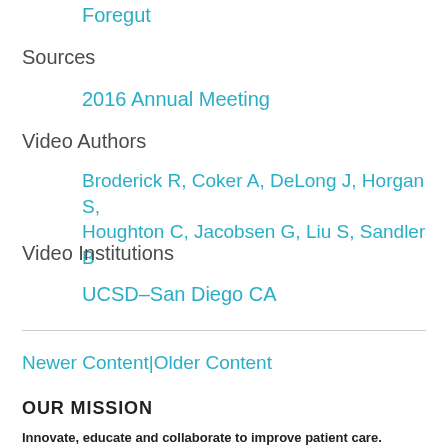Foregut
Sources
2016 Annual Meeting
Video Authors
Broderick R, Coker A, DeLong J, Horgan S, Houghton C, Jacobsen G, Liu S, Sandler B
Video Institutions
UCSD–San Diego CA
Newer Content|Older Content
OUR MISSION
Innovate, educate and collaborate to improve patient care.